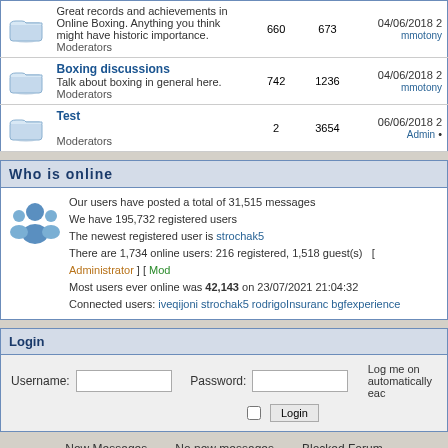|  | Forum | Topics | Posts | Last Post |
| --- | --- | --- | --- | --- |
| [icon] | Great records and achievements in Online Boxing. Anything you think might have historic importance.
Moderators | 660 | 673 | 04/06/2018
mmotony |
| [icon] | Boxing discussions
Talk about boxing in general here.
Moderators | 742 | 1236 | 04/06/2018
mmotony |
| [icon] | Test
Moderators | 2 | 3654 | 06/06/2018
Admin |
Who is online
Our users have posted a total of 31,515 messages
We have 195,732 registered users
The newest registered user is strochak5
There are 1,734 online users: 216 registered, 1,518 guest(s)   [ Administrator ] [ Mod
Most users ever online was 42,143 on 23/07/2021 21:04:32
Connected users: iveqijoni strochak5 rodrigoInsuranc bgfexperience
Login
Username: [input] Password: [input] Log me on automatically eac
[checkbox] Login
New Messages    No new messages    Blocked Forum
Powered by JForum 2.1.8 © JForum Team